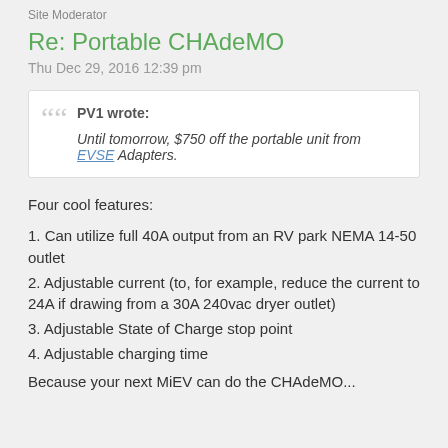Site Moderator
Re: Portable CHAdeMO
Thu Dec 29, 2016 12:39 pm
PV1 wrote:
Until tomorrow, $750 off the portable unit from EVSE Adapters.
Four cool features:
1. Can utilize full 40A output from an RV park NEMA 14-50 outlet
2. Adjustable current (to, for example, reduce the current to 24A if drawing from a 30A 240vac dryer outlet)
3. Adjustable State of Charge stop point
4. Adjustable charging time
Because your next MiEV can do the CHAdeMO...